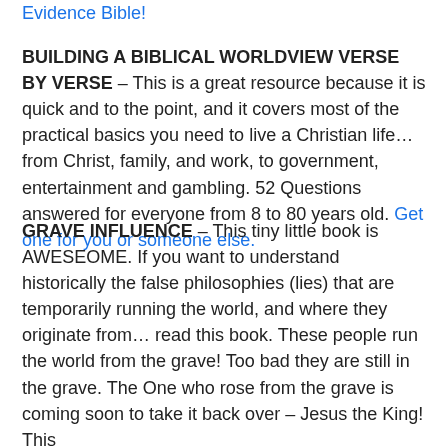Evidence Bible!
BUILDING A BIBLICAL WORLDVIEW VERSE BY VERSE – This is a great resource because it is quick and to the point, and it covers most of the practical basics you need to live a Christian life… from Christ, family, and work, to government, entertainment and gambling. 52 Questions answered for everyone from 8 to 80 years old. Get one for you or someone else.
GRAVE INFLUENCE – This tiny little book is AWESEOME. If you want to understand historically the false philosophies (lies) that are temporarily running the world, and where they originate from… read this book. These people run the world from the grave! Too bad they are still in the grave. The One who rose from the grave is coming soon to take it back over – Jesus the King! This